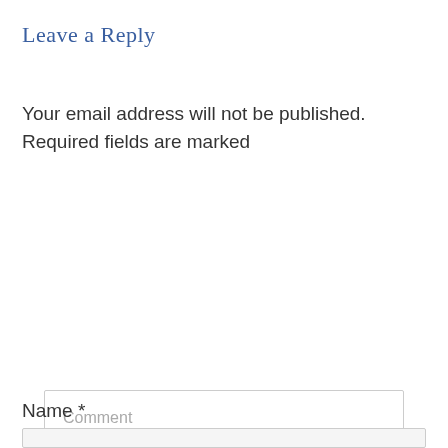Leave a Reply
Your email address will not be published. Required fields are marked
Comment
Name *